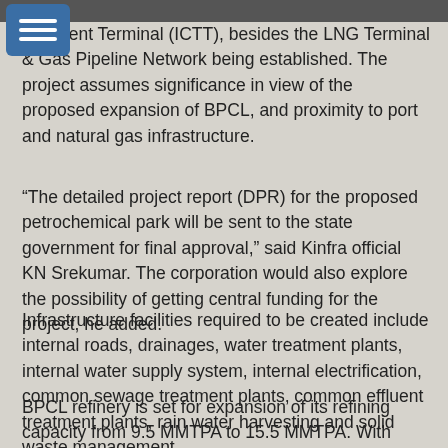shipment Terminal (ICTT), besides the LNG Terminal & Gas Pipeline Network being established. The project assumes significance in view of the proposed expansion of BPCL, and proximity to port and natural gas infrastructure.
“The detailed project report (DPR) for the proposed petrochemical park will be sent to the state government for final approval,” said Kinfra official KN Srekumar. The corporation would also explore the possibility of getting central funding for the project, he added.
Infrastructure facilities required to be created include internal roads, drainages, water treatment plants, internal water supply system, internal electrification, common sewage treatment plants, common effluent treatment plants, rain water harvesting and solid waste management.
BPCL refinery is set for expansion of its refining capacity from 9.5 MMTPA to 15.5 MMTPA. With increased crude capacity of 15.5 MMTPA, the refinery will produce 5 lakh TPA propylene. This is in addition to production of various fuels like LPG, Kerosene, Coke and Bitumen. Utilizing 5 lakh TPA propylene,